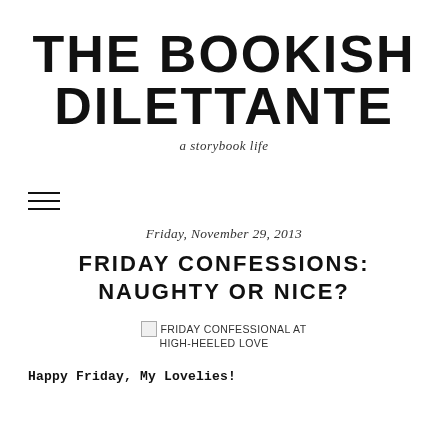THE BOOKISH DILETTANTE
a storybook life
[Figure (other): Hamburger menu icon (three horizontal lines)]
Friday, November 29, 2013
FRIDAY CONFESSIONS: NAUGHTY OR NICE?
[Figure (other): Broken image placeholder with text: FRIDAY CONFESSIONAL at HIGH-HEELED LOVE]
Happy Friday, My Lovelies!